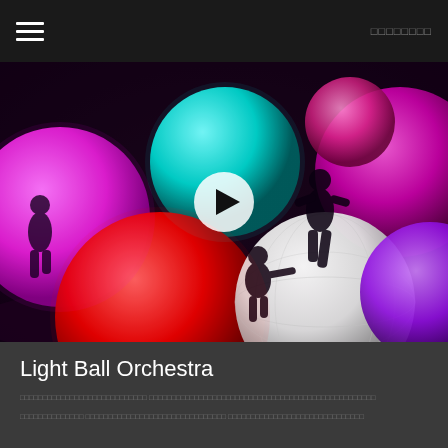☰  □□□□□□□□
[Figure (photo): People interacting with large illuminated glowing balls of various colors (pink, magenta, cyan, red, white, purple) in a dark room. A play button overlay is centered on the image, indicating this is a video thumbnail.]
Light Ball Orchestra
□□□□□□□□□□□□□□□□□□□□□□□□□□□□ □□□□□□□□□□□□□□□□□□□□□□□□□□□□□□□□□□□□□□□□□□□□
□□□□□□□□□□□□□□ □□□□□□□□□□□□□□□□□□□□□□□□□□□□□□□ □□□□□□□□□□□□□□□□□